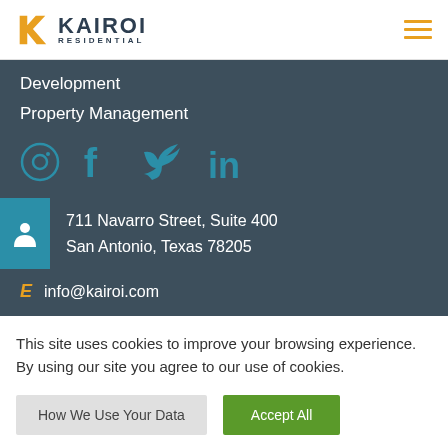Kairoi Residential
Development
Property Management
711 Navarro Street, Suite 400
San Antonio, Texas 78205
info@kairoi.com
This site uses cookies to improve your browsing experience. By using our site you agree to our use of cookies.
How We Use Your Data | Accept All